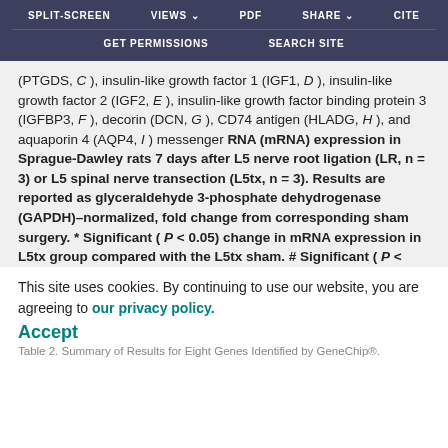SPLIT-SCREEN  VIEWS  PDF  SHARE  CITE  GET PERMISSIONS  SEARCH SITE
(PTGDS, C), insulin-like growth factor 1 (IGF1, D), insulin-like growth factor 2 (IGF2, E), insulin-like growth factor binding protein 3 (IGFBP3, F), decorin (DCN, G), CD74 antigen (HLADG, H), and aquaporin 4 (AQP4, I) messenger RNA (mRNA) expression in Sprague-Dawley rats 7 days after L5 nerve root ligation (LR, n = 3) or L5 spinal nerve transection (L5tx, n = 3). Results are reported as glyceraldehyde 3-phosphate dehydrogenase (GAPDH)–normalized, fold change from corresponding sham surgery. * Significant ( P < 0.05) change in mRNA expression in L5tx group compared with the L5tx sham. # Significant ( P < 0.05) change in mRNA expression in LR group compared with LR sham.
Table 2. Summary of Results for Eight Genes Identified by GeneChip®.